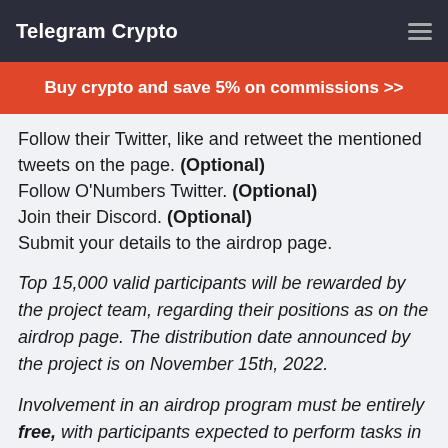Telegram Crypto
Buy crypto and save 5% on commissions >>
Follow their Twitter, like and retweet the mentioned tweets on the page. (Optional)
Follow O'Numbers Twitter. (Optional)
Join their Discord. (Optional)
Submit your details to the airdrop page.
Top 15,000 valid participants will be rewarded by the project team, regarding their positions as on the airdrop page. The distribution date announced by the project is on November 15th, 2022.
Involvement in an airdrop program must be entirely free, with participants expected to perform tasks in exchange for free tokens/coins. Each participant, is responsible for conducting their own study